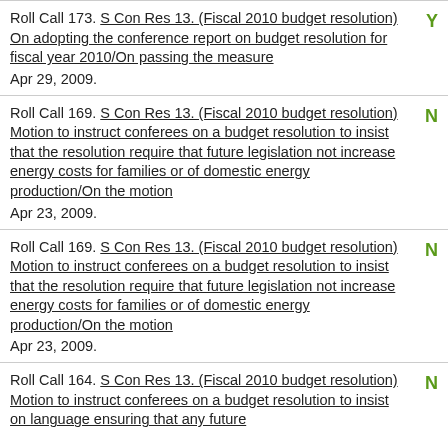Roll Call 173. S Con Res 13. (Fiscal 2010 budget resolution) On adopting the conference report on budget resolution for fiscal year 2010/On passing the measure Apr 29, 2009. Y
Roll Call 169. S Con Res 13. (Fiscal 2010 budget resolution) Motion to instruct conferees on a budget resolution to insist that the resolution require that future legislation not increase energy costs for families or of domestic energy production/On the motion Apr 23, 2009. N
Roll Call 169. S Con Res 13. (Fiscal 2010 budget resolution) Motion to instruct conferees on a budget resolution to insist that the resolution require that future legislation not increase energy costs for families or of domestic energy production/On the motion Apr 23, 2009. N
Roll Call 164. S Con Res 13. (Fiscal 2010 budget resolution) Motion to instruct conferees on a budget resolution to insist on language ensuring that any future climate change legislation not be considered by the... N